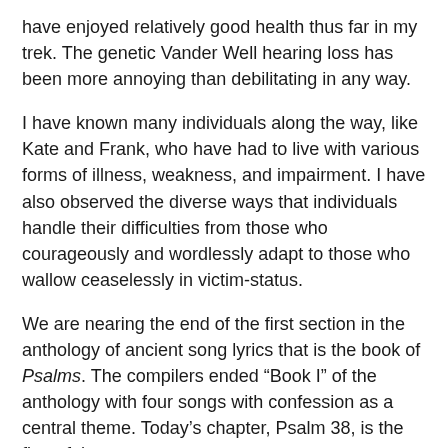have enjoyed relatively good health thus far in my trek. The genetic Vander Well hearing loss has been more annoying than debilitating in any way.
I have known many individuals along the way, like Kate and Frank, who have had to live with various forms of illness, weakness, and impairment. I have also observed the diverse ways that individuals handle their difficulties from those who courageously and wordlessly adapt to those who wallow ceaselessly in victim-status.
We are nearing the end of the first section in the anthology of ancient song lyrics that is the book of Psalms. The compilers ended “Book I” of the anthology with four songs with confession as a central theme. Today’s chapter, Psalm 38, is the first of them.
David is seriously ailing. The reason and nature of his wounds and illness are lost to history, but the warrior-king is ill to the